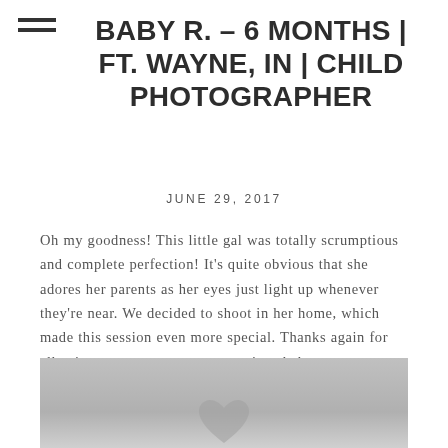≡
BABY R. – 6 MONTHS | FT. WAYNE, IN | CHILD PHOTOGRAPHER
JUNE 29, 2017
Oh my goodness!  This little gal was totally scrumptious and complete perfection!  It's quite obvious that she adores her parents as her eyes just light up whenever they're near.  We decided to shoot in her home, which made this session even more special.  Thanks again for allowing me to capture your precious babe.
[Figure (photo): Black and white photo of a baby, partially visible at the bottom of the page]